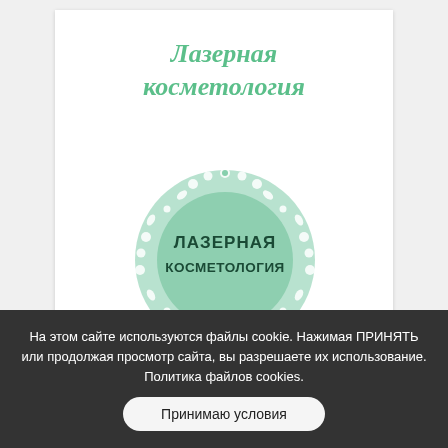Лазерная косметология
[Figure (logo): Circular green logo with floral/leaf border pattern and bold text 'ЛАЗЕРНАЯ КОСМЕТОЛОГИЯ' in dark green on mint green background]
На этом сайте используются файлы cookie. Нажимая ПРИНЯТЬ или продолжая просмотр сайта, вы разрешаете их использование. Политика файлов cookies.
Принимаю условия